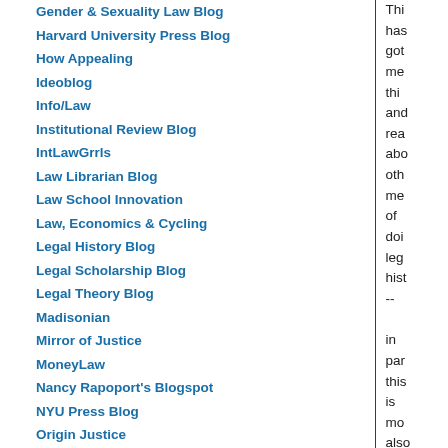Gender & Sexuality Law Blog
Harvard University Press Blog
How Appealing
Ideoblog
Info/Law
Institutional Review Blog
IntLawGrrls
Law Librarian Blog
Law School Innovation
Law, Economics & Cycling
Legal History Blog
Legal Scholarship Blog
Legal Theory Blog
Madisonian
Mirror of Justice
MoneyLaw
Nancy Rapoport's Blogspot
NYU Press Blog
Thi has got me thi and rea abo oth me of doi leg hist -- in par this is mo also by the rec